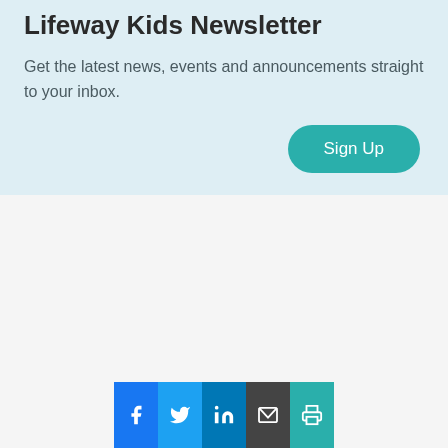Lifeway Kids Newsletter
Get the latest news, events and announcements straight to your inbox.
[Figure (infographic): Sign Up button (teal rounded rectangle) and social share bar with Facebook, Twitter, LinkedIn, Email, and Print icons]